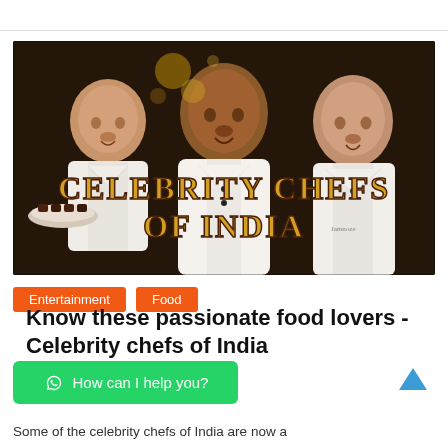[Figure (photo): Three Indian celebrity chefs in white uniforms smiling, with text overlay reading 'CELEBRITY CHEFS OF INDIA' in decorative gold and dark lettering on a dark speckled background.]
Entertainment   Food
Know these passionate food lovers - Celebrity chefs of India
How can I help you?
Some of the celebrity chefs of India are now a